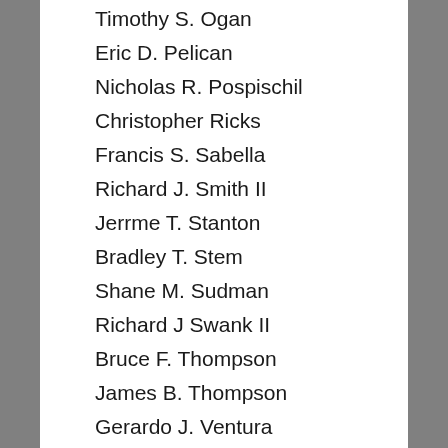Timothy S. Ogan
Eric D. Pelican
Nicholas R. Pospischil
Christopher Ricks
Francis S. Sabella
Richard J. Smith II
Jerrme T. Stanton
Bradley T. Stem
Shane M. Sudman
Richard J Swank II
Bruce F. Thompson
James B. Thompson
Gerardo J. Ventura
Tory J. Wagner
Nicholas W. Whitney
Lamarcus Williams
Christopher Young